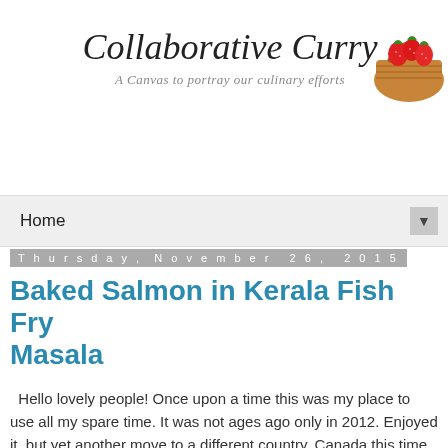Collaborative Curry — A Canvas to portray our culinary efforts
[Figure (photo): A basket with strawberries illustration in the top right corner of the blog header]
Home
Thursday, November 26, 2015
Baked Salmon in Kerala Fish Fry Masala
Hello lovely people! Once upon a time this was my place to use all my spare time. It was not ages ago only in 2012. Enjoyed it, but yet another move to a different country, Canada this time, and full time work surely made it hard to pursue blogging. Here and there I still keep my personal journalistic blog updated but cooking blog really was not happening because all the cooking and eating was making me gain weight. My metabolism was out of whack and wrecking havoc. I didn't want to cook rich food nor look and drool at my other blogger friends fantastic cooking. Having